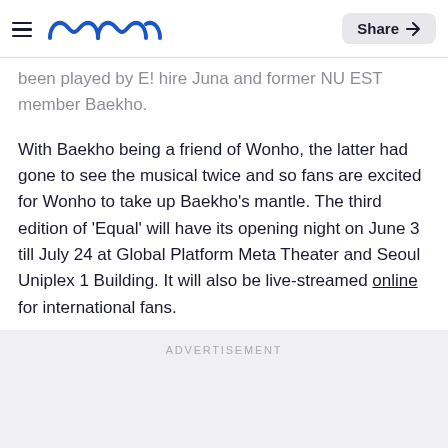Meaww | Share
been played by E! hire Juna and former NU EST member Baekho.
With Baekho being a friend of Wonho, the latter had gone to see the musical twice and so fans are excited for Wonho to take up Baekho's mantle. The third edition of 'Equal' will have its opening night on June 3 till July 24 at Global Platform Meta Theater and Seoul Uniplex 1 Building. It will also be live-streamed online for international fans.
ADVERTISEMENT